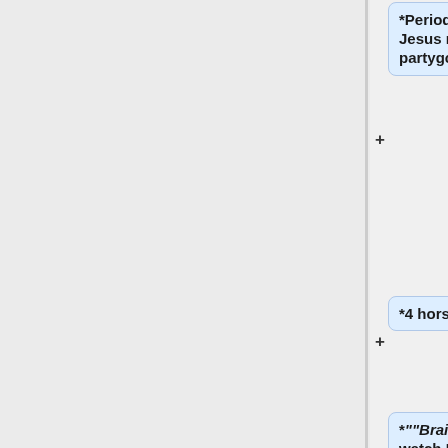*Periodically, designated Jesus raptures selected partygoers.
*4 horsemen ... ?
*""Brainstorm more!!"" -- watch Mad Max &/or The Road Warrior (I don't know, ask Bader or Adam)
*Karaoke (Sam has karaoke revolution...)
==Food/Drink==